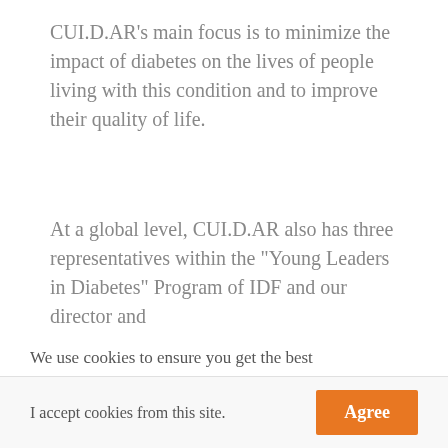CUI.D.AR's main focus is to minimize the impact of diabetes on the lives of people living with this condition and to improve their quality of life.
At a global level, CUI.D.AR also has three representatives within the “Young Leaders in Diabetes” Program of IDF and our director and
We use cookies to ensure you get the best experience on our website.We also collect personal information and share information about the use of the website. View our privacy policy
I accept cookies from this site.